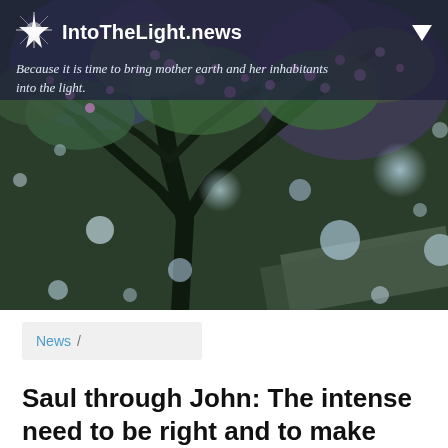IntoTheLight.news — Because it is time to bring mother earth and her inhabitants into the light.
[Figure (photo): Blooming cherry blossom or similar pink/purple flowering tree with green leaves, dark branches, and blurred bokeh light spots, shot from below against a moody sky. Some white petal-like shapes floating in the foreground.]
News /
Saul through John: The intense need to be right and to make others wrong is a very common human egotistical